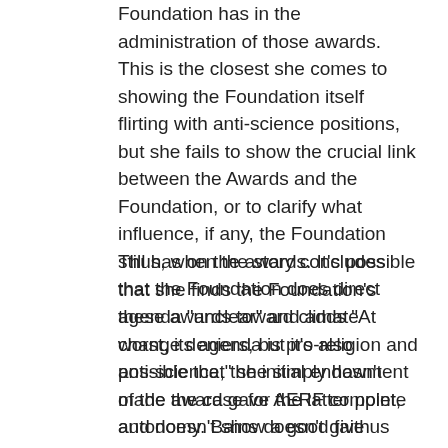Foundation has in the administration of those awards. This is the closest she comes to showing the Foundation itself flirting with anti-science positions, but she fails to show the crucial link between the Awards and the Foundation, or to clarify what influence, if any, the Foundation still has on the awards. It's possible that the Foundation does direct these awards toward climate change deniers, but it's also possible that the initial endowment of the award gave AERF complete autonomy. Bains doesn't give us enough information to draw any conclusions. She may well not have gathered enough information to draw conclusions. Yet draw them she did.
Thus, when the story concludes that she finds the Foundation's agenda "unclear" and adds "At worst, its agenda is pro-religion and anti-science," she simply hasn't made the case for the latter point, and doesn't show a good faith effort to actually examine the agenda. No, Rosenau, it's you who hasn't made a good faith effort.